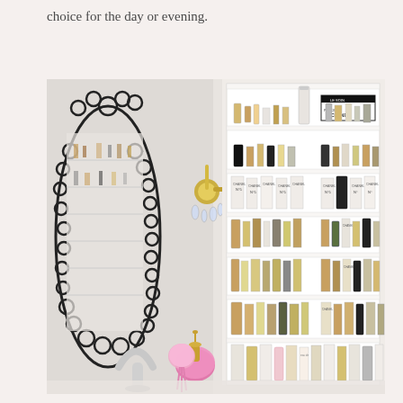choice for the day or evening.
[Figure (photo): A bright white bathroom with a decorative scalloped-edge mirror on the left wall and a wall sconce with crystal details. On the right side is a large white built-in shelf unit filled with numerous perfume bottles of various shapes, sizes and colors arranged on multiple shelves. A pink glass atomizer perfume bottle sits on the counter near a chrome faucet in the foreground.]